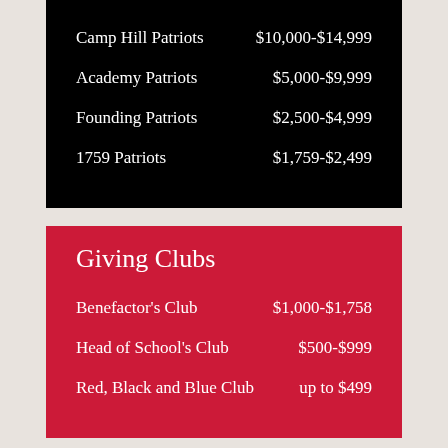Camp Hill Patriots    $10,000-$14,999
Academy Patriots    $5,000-$9,999
Founding Patriots    $2,500-$4,999
1759 Patriots    $1,759-$2,499
Giving Clubs
Benefactor's Club    $1,000-$1,758
Head of School's Club    $500-$999
Red, Black and Blue Club    up to $499